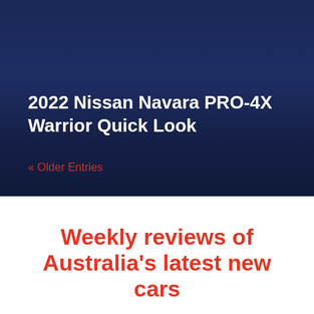2022 Nissan Navara PRO-4X Warrior Quick Look
« Older Entries
Weekly reviews of Australia's latest new cars